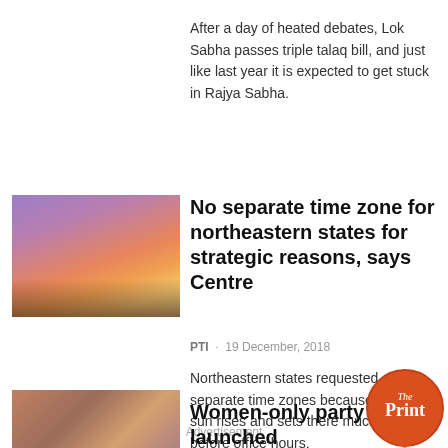After a day of heated debates, Lok Sabha passes triple talaq bill, and just like last year it is expected to get stuck in Rajya Sabha.
[Figure (photo): Sunset over a beach with boats silhouetted on the water]
No separate time zone for northeastern states for strategic reasons, says Centre
PTI - 19 December, 2018
Northeastern states requested separate time zones because the sun rises and sets there much before office hours.
[Figure (logo): The Print circular logo in orange/red]
Advertisement
[Figure (photo): Women at a gathering or event]
Women-only party launched